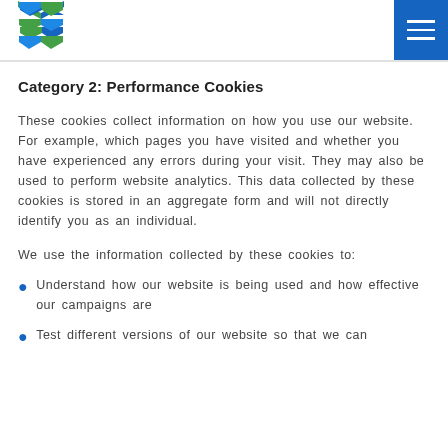[Figure (logo): Company logo with stylized S shape in blue and green]
Category 2: Performance Cookies
These cookies collect information on how you use our website. For example, which pages you have visited and whether you have experienced any errors during your visit. They may also be used to perform website analytics. This data collected by these cookies is stored in an aggregate form and will not directly identify you as an individual.
We use the information collected by these cookies to:
Understand how our website is being used and how effective our campaigns are
Test different versions of our website so that we can